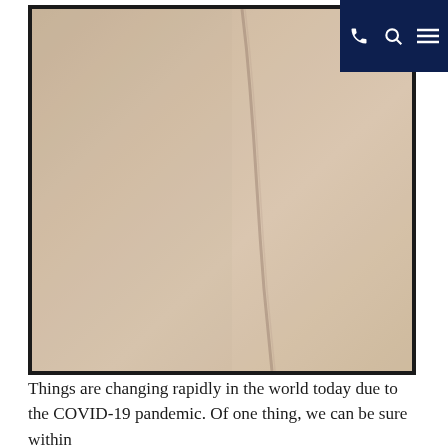[Figure (photo): Close-up photograph of a beige/cream wall or surface with a thin vertical crack or line running diagonally. The background is a muted sandy-beige tone. A dark navy navigation bar with phone, search, and menu icons is visible in the top-right corner.]
Things are changing rapidly in the world today due to the COVID-19 pandemic. Of one thing, we can be sure within